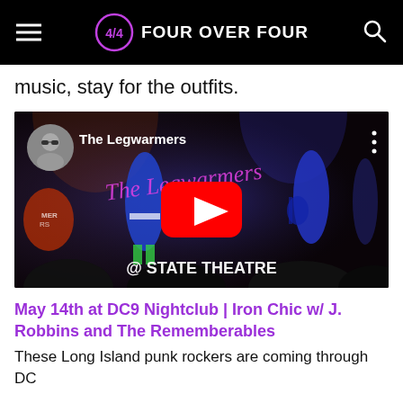FOUR OVER FOUR
music, stay for the outfits.
[Figure (screenshot): YouTube video embed showing The Legwarmers band performing at State Theatre, with a female performer in a blue metallic outfit, play button overlay, title 'The Legwarmers' and '@ STATE THEATRE' text]
May 14th at DC9 Nightclub | Iron Chic w/ J. Robbins and The Rememberables
These Long Island punk rockers are coming through DC